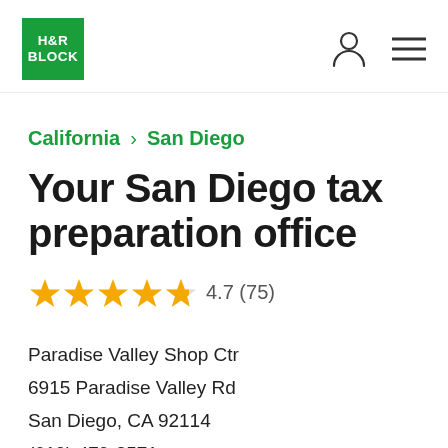[Figure (logo): H&R Block green square logo with white text]
California > San Diego
Your San Diego tax preparation office
4.7 (75) — star rating
Paradise Valley Shop Ctr
6915 Paradise Valley Rd
San Diego, CA 92114
(619) 479-3571